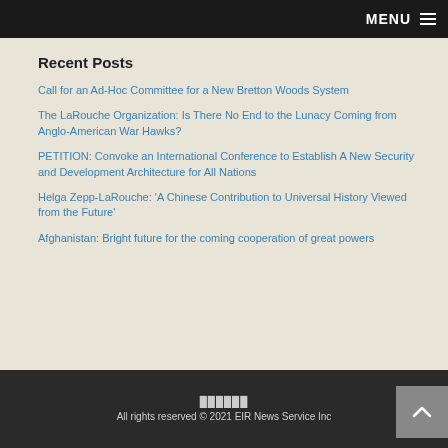MENU
Recent Posts
Call for an Ad-Hoc Committee for a New Bretton Woods System
The LaRouche Organization: Is There No End to the Lunacy Coming from Anglo-American War Hawks?
PETITION: Convoke an International Conference to Establish A New Security and Development Architecture for All Nations
Helga Zepp-LaRouche: 'A Chinese Contribution to Universal History Viewed from the Future'
Afghanistan: Bright future for the coming cooperation of great powers
██████  All rights reserved © 2021 EIR News Service Inc